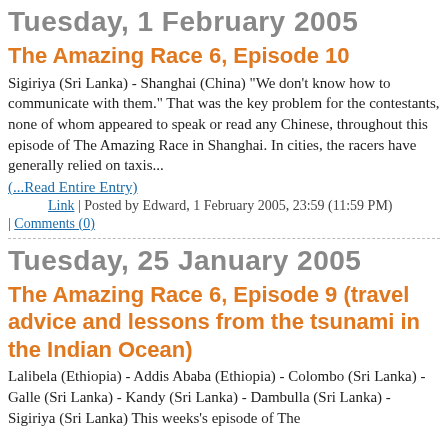Tuesday, 1 February 2005
The Amazing Race 6, Episode 10
Sigiriya (Sri Lanka) - Shanghai (China) "We don't know how to communicate with them." That was the key problem for the contestants, none of whom appeared to speak or read any Chinese, throughout this episode of The Amazing Race in Shanghai. In cities, the racers have generally relied on taxis...
(...Read Entire Entry)
Link | Posted by Edward, 1 February 2005, 23:59 (11:59 PM) | Comments (0)
Tuesday, 25 January 2005
The Amazing Race 6, Episode 9 (travel advice and lessons from the tsunami in the Indian Ocean)
Lalibela (Ethiopia) - Addis Ababa (Ethiopia) - Colombo (Sri Lanka) - Galle (Sri Lanka) - Kandy (Sri Lanka) - Dambulla (Sri Lanka) - Sigiriya (Sri Lanka) This weeks's episode of The